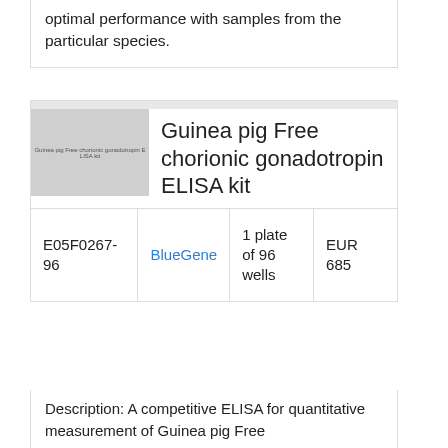optimal performance with samples from the particular species.
[Figure (photo): Product image placeholder for Guinea pig Free chorionic gonadotropin ELISA kit]
Guinea pig Free chorionic gonadotropin ELISA kit
|  |  |  |  |
| --- | --- | --- | --- |
| E05F0267-96 | BlueGene | 1 plate of 96 wells | EUR 685 |
Description: A competitive ELISA for quantitative measurement of Guinea pig Free